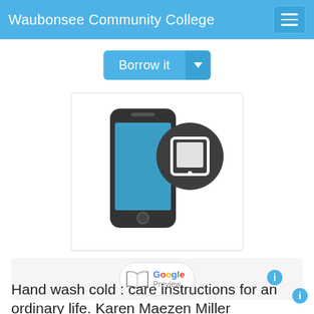Waubonsee Community College
Borrow it
[Figure (illustration): A smartphone icon with a blue screen overlaid with a dark circular badge containing a white tablet/iPad icon]
[Figure (logo): Google Preview badge with open-book icon]
Hand wash cold : care instructions for an ordinary life. Karen Maezen Miller